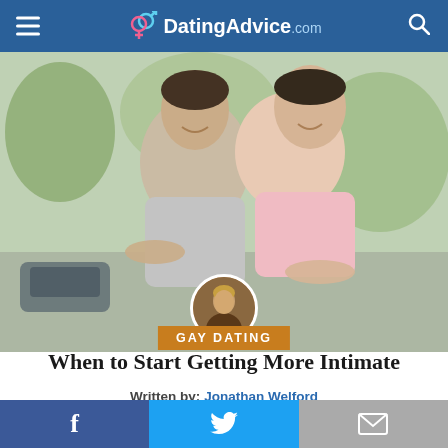DatingAdvice.com
[Figure (photo): Two smiling men outdoors, one giving the other a piggyback ride. A small circular author avatar photo is overlaid near the bottom center of the image.]
GAY DATING
When to Start Getting More Intimate
Written by: Jonathan Welford
Edited by: Lillian Castro
Updated: 6/5/2015
f  (Twitter bird)  (envelope)